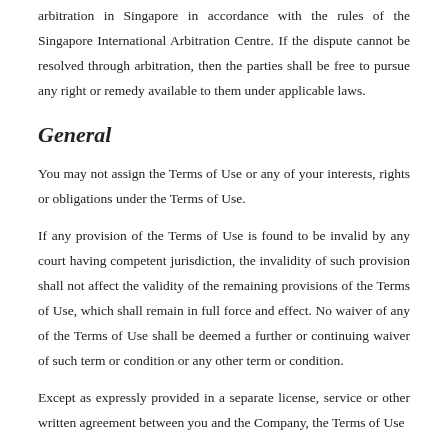arbitration in Singapore in accordance with the rules of the Singapore International Arbitration Centre. If the dispute cannot be resolved through arbitration, then the parties shall be free to pursue any right or remedy available to them under applicable laws.
General
You may not assign the Terms of Use or any of your interests, rights or obligations under the Terms of Use.
If any provision of the Terms of Use is found to be invalid by any court having competent jurisdiction, the invalidity of such provision shall not affect the validity of the remaining provisions of the Terms of Use, which shall remain in full force and effect. No waiver of any of the Terms of Use shall be deemed a further or continuing waiver of such term or condition or any other term or condition.
Except as expressly provided in a separate license, service or other written agreement between you and the Company, the Terms of Use